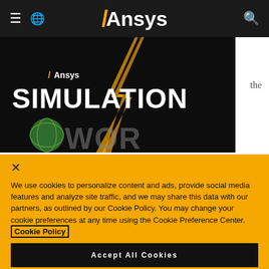[Figure (screenshot): Ansys website navigation bar with hamburger menu, globe icon, Ansys logo in gold and white, and search icon on dark background]
[Figure (screenshot): Ansys Simulation World banner image showing large white SIMULATION text over dark background with gold lightning bolt and globe graphic]
the
×
We use cookies to personalize content and ads, provide social media features and analyze site traffic, and we may share this data with our partners, as outlined by our Cookie Policy. You may change your cookie preferences at any time using the Cookie Preference Center. Cookie Policy.
Accept All Cookies
Cookies Settings